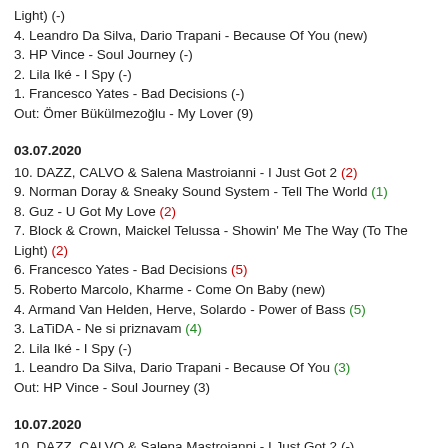Light) (-)
4. Leandro Da Silva, Dario Trapani - Because Of You (new)
3. HP Vince - Soul Journey (-)
2. Lila Iké - I Spy (-)
1. Francesco Yates - Bad Decisions (-)
Out: Ömer Bükülmezoğlu - My Lover (9)
03.07.2020
10. DAZZ, CALVO & Salena Mastroianni - I Just Got 2 (2)
9. Norman Doray & Sneaky Sound System - Tell The World (1)
8. Guz - U Got My Love (2)
7. Block & Crown, Maickel Telussa - Showin' Me The Way (To The Light) (2)
6. Francesco Yates - Bad Decisions (5)
5. Roberto Marcolo, Kharme - Come On Baby (new)
4. Armand Van Helden, Herve, Solardo - Power of Bass (5)
3. LaTiDA - Ne si priznavam (4)
2. Lila Iké - I Spy (-)
1. Leandro Da Silva, Dario Trapani - Because Of You (3)
Out: HP Vince - Soul Journey (3)
10.07.2020
10. DAZZ, CALVO & Salena Mastroianni - I Just Got 2 (-)
9. Norman Doray & Sneaky Sound System - Tell The World (-)
8. Guz - U Got My Love (-)
7. Block & Crown, Maickel Telussa - Showin' Me The Way (To The Light) (-)
6. Francesco Yates - Bad Decisions (-)
5. Turbotronic - Big Banana (new)
4. Armand Van Helden, Herve, Solardo - Power of Bass (-)